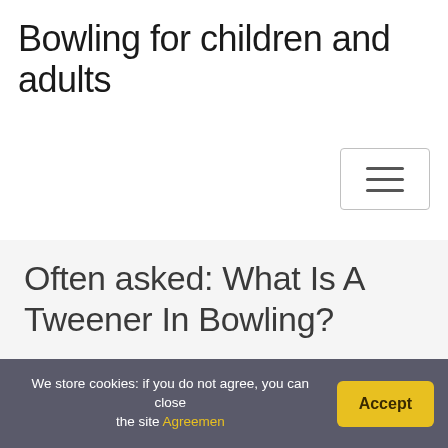Bowling for children and adults
[Figure (other): Hamburger menu toggle button with three horizontal lines]
Often asked: What Is A Tweener In Bowling?
Home / Bowling / Often asked: What Is A Tweener In Bowling?
We store cookies: if you do not agree, you can close the site Agreemen  Accept